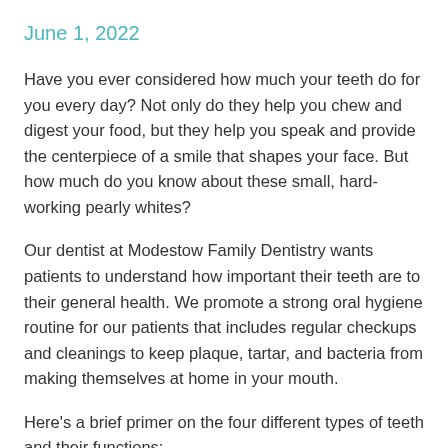June 1, 2022
Have you ever considered how much your teeth do for you every day? Not only do they help you chew and digest your food, but they help you speak and provide the centerpiece of a smile that shapes your face. But how much do you know about these small, hard-working pearly whites?
Our dentist at Modestow Family Dentistry wants patients to understand how important their teeth are to their general health. We promote a strong oral hygiene routine for our patients that includes regular checkups and cleanings to keep plaque, tartar, and bacteria from making themselves at home in your mouth.
Here’s a brief primer on the four different types of teeth and their functions: